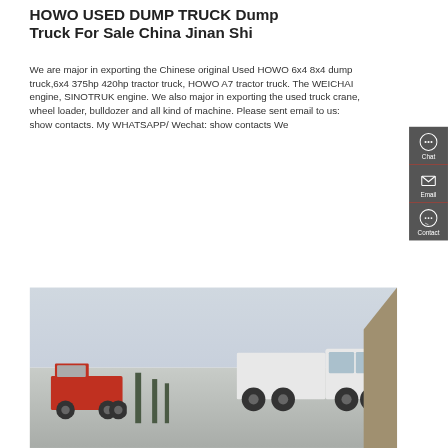HOWO USED DUMP TRUCK Dump Truck For Sale China Jinan Shi
We are major in exporting the Chinese original Used HOWO 6x4 8x4 dump truck,6x4 375hp 420hp tractor truck, HOWO A7 tractor truck. The WEICHAI engine, SINOTRUK engine. We also major in exporting the used truck crane, wheel loader, bulldozer and all kind of machine. Please sent email to us: show contacts. My WHATSAPP/ Wechat: show contacts We
[Figure (other): Red GET A QUOTE call-to-action button]
[Figure (other): Dark sidebar panel with Chat, Email, and Contact icons]
[Figure (photo): Photo of HOWO dump trucks and tractor trucks parked outdoors with trees and hill in background]